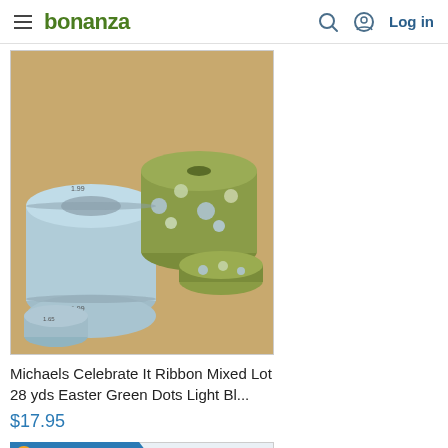bonanza | Log in
[Figure (photo): Photo of multiple spools of ribbon in light blue and olive green with polka dots, stacked on a wooden surface]
Michaels Celebrate It Ribbon Mixed Lot 28 yds Easter Green Dots Light Bl...
$17.95
TOP RATED SELLER
[Figure (photo): Photo of multiple spools of ribbon in pink, burgundy/maroon, and green on a light background, partially visible]